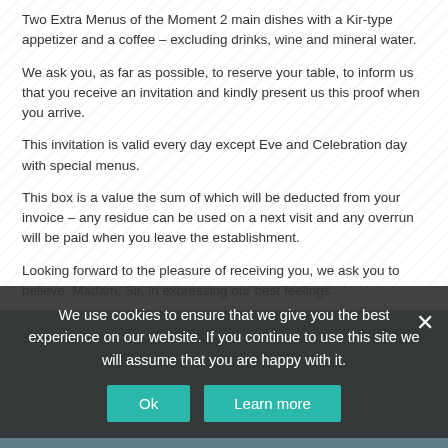Two Extra Menus of the Moment 2 main dishes with a Kir-type appetizer and a coffee – excluding drinks, wine and mineral water.
We ask you, as far as possible, to reserve your table, to inform us that you receive an invitation and kindly present us this proof when you arrive.
This invitation is valid every day except Eve and Celebration day with special menus.
This box is a value the sum of which will be deducted from your invoice – any residue can be used on a next visit and any overrun will be paid when you leave the establishment.
Looking forward to the pleasure of receiving you, we ask you to believe, Madam, Sir, in expressing our best feelings.
Didier, Marie Christine and Estelle Palard.
Related products
We use cookies to ensure that we give you the best experience on our website. If you continue to use this site we will assume that you are happy with it.